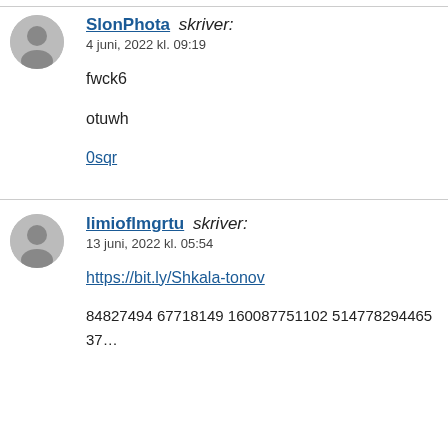SlonPhota skriver:
4 juni, 2022 kl. 09:19

fwck6

otuwh

0sqr
limioflmgrtu skriver:
13 juni, 2022 kl. 05:54

https://bit.ly/Shkala-tonov

84827494 67718149 160087751102 51477829446537...